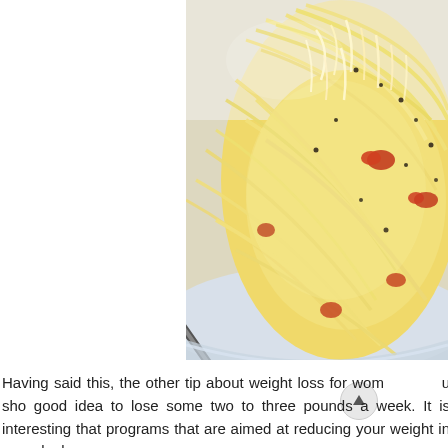[Figure (photo): Close-up photo of spaghetti carbonara in a white bowl, with creamy sauce, bacon pieces, black pepper, and shredded Parmesan cheese on top. A fork is visible at the bottom left of the bowl.]
Having said this, the other tip about weight loss for wom you sho good idea to lose some two to three pounds a week. It is interesting that programs that are aimed at reducing your weight in a gradual a